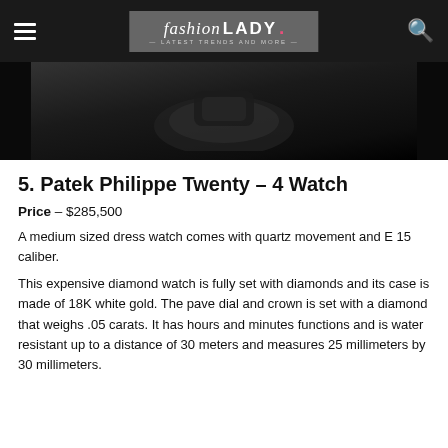fashion LADY — Latest Trends and More —
[Figure (photo): Dark background hero image showing a partial view of a luxury watch, predominately dark/black tones]
5. Patek Philippe Twenty – 4 Watch
Price – $285,500
A medium sized dress watch comes with quartz movement and E 15 caliber.
This expensive diamond watch is fully set with diamonds and its case is made of 18K white gold. The pave dial and crown is set with a diamond that weighs .05 carats. It has hours and minutes functions and is water resistant up to a distance of 30 meters and measures 25 millimeters by 30 millimeters.